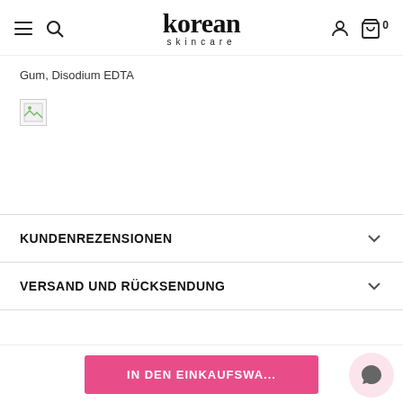korean skincare
Gum, Disodium EDTA
[Figure (other): Broken image placeholder icon]
KUNDENREZENSIONEN
VERSAND UND RÜCKSENDUNG
IN DEN EINKAUFSWA...